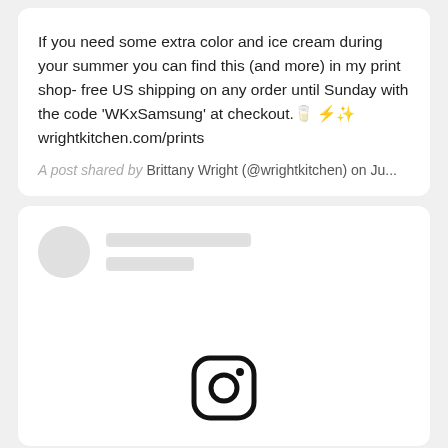If you need some extra color and ice cream during your summer you can find this (and more) in my print shop- free US shipping on any order until Sunday with the code 'WKxSamsung' at checkout. 🍦⚡✨ wrightkitchen.com/prints
A post shared by Brittany Wright (@wrightkitchen) on Ju...
[Figure (screenshot): Loading skeleton of a social media post card with circular avatar placeholder and two gray loading bars, and Instagram logo icon at the bottom center]